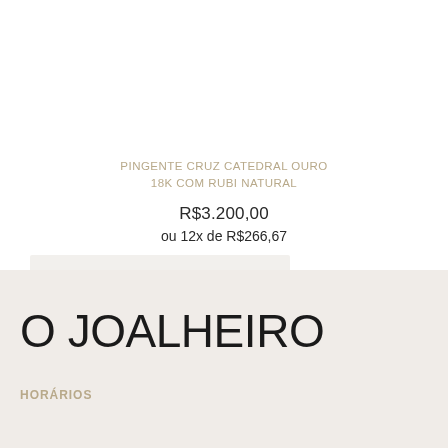PINGENTE CRUZ CATEDRAL OURO 18K COM RUBI NATURAL
R$3.200,00
ou 12x de R$266,67
Comprar
O JOALHEIRO
HORÁRIOS